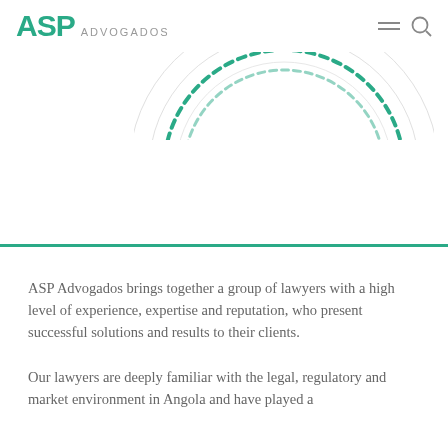ASP ADVOGADOS
[Figure (illustration): Decorative circular arc graphic with teal dashed semicircle and light gray concentric rings, partially visible at top center of page]
ASP Advogados brings together a group of lawyers with a high level of experience, expertise and reputation, who present successful solutions and results to their clients.
Our lawyers are deeply familiar with the legal, regulatory and market environment in Angola and have played a